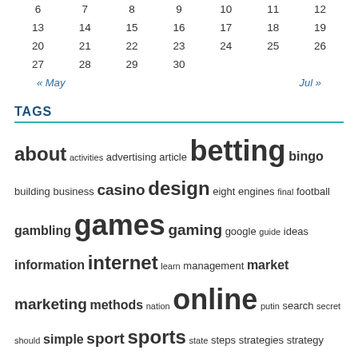| 6 | 7 | 8 | 9 | 10 | 11 | 12 |
| 13 | 14 | 15 | 16 | 17 | 18 | 19 |
| 20 | 21 | 22 | 23 | 24 | 25 | 26 |
| 27 | 28 | 29 | 30 |  |  |  |
« May    Jul »
TAGS
about activities advertising article betting bingo building business casino design eight engines final football gambling games gaming google guide ideas information internet learn management market marketing methods nation online putin search secret should simple sport sports state steps strategies strategy these three video website websites
ARCHIVES
August 2022
July 2022
June 2022